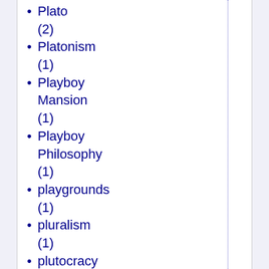Plato (2)
Platonism (1)
Playboy Mansion (1)
Playboy Philosophy (1)
playgrounds (1)
pluralism (1)
plutocracy (4)
podcasts (1)
poetry (6)
Poland (2)
police (1)
police